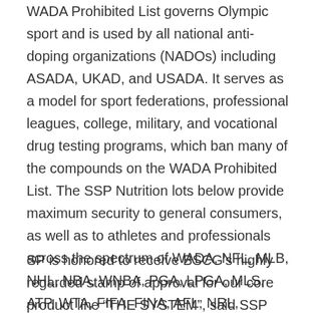WADA Prohibited List governs Olympic sport and is used by all national anti-doping organizations (NADOs) including ASADA, UKAD, and USADA. It serves as a model for sport federations, professional leagues, college, military, and vocational drug testing programs, which ban many of the compounds on the WADA Prohibited List. The SSP Nutrition lots below provide maximum security to general consumers, as well as to athletes and professionals across the spectrum of WADA, NFL, MLB, NHL, NBA, WNBA, PGA, LPGA, MLS, ATP, WTA, FIFA, FINA, AFL, NRL, NASCAR, UFC, CrossFit, NCAA, military, law enforcement, and other drug-testing programs.
SP is honored to receive BSCG's highly regarded stamp of approval for our core product line “THE SYSTEM”, said SSP